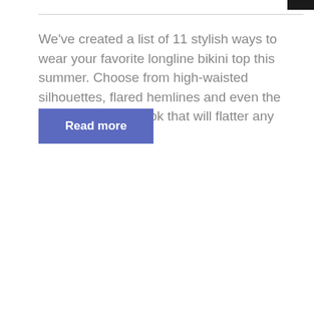We've created a list of 11 stylish ways to wear your favorite longline bikini top this summer. Choose from high-waisted silhouettes, flared hemlines and even the classic strapless look that will flatter any figure!
Read more